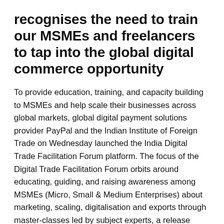recognises the need to train our MSMEs and freelancers to tap into the global digital commerce opportunity
To provide education, training, and capacity building to MSMEs and help scale their businesses across global markets, global digital payment solutions provider PayPal and the Indian Institute of Foreign Trade on Wednesday launched the India Digital Trade Facilitation Forum platform. The focus of the Digital Trade Facilitation Forum orbits around educating, guiding, and raising awareness among MSMEs (Micro, Small & Medium Enterprises) about marketing, scaling, digitalisation and exports through master-classes led by subject experts, a release stated.
The Digital Trade Facilitation Forum will work on